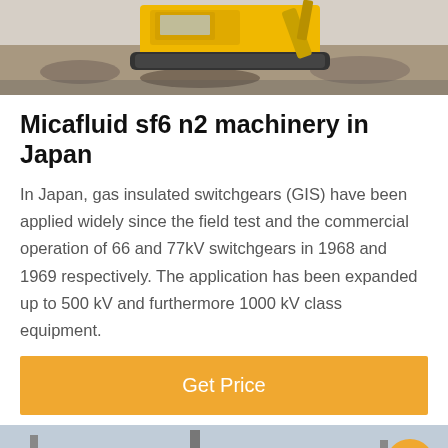[Figure (photo): Construction machinery / excavator on rocky ground, top banner image]
Micafluid sf6 n2 machinery in Japan
In Japan, gas insulated switchgears (GIS) have been applied widely since the field test and the commercial operation of 66 and 77kV switchgears in 1968 and 1969 respectively. The application has been expanded up to 500 kV and furthermore 1000 kV class equipment.
[Figure (photo): Electrical substation infrastructure with transmission towers and cables, with bottom navigation bar overlay showing Leave Message, customer service avatar, and Chat Online buttons]